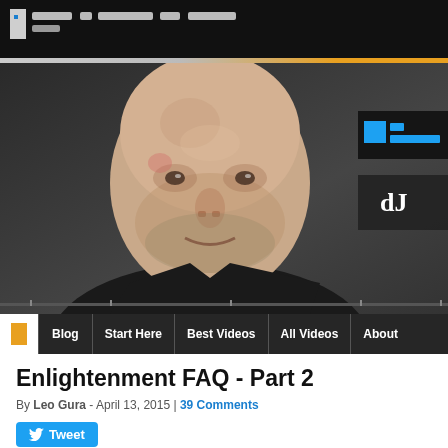[Figure (screenshot): Website header black bar with logo (pixelated/blurred) on dark background]
[Figure (photo): Pixelated/low-resolution video thumbnail showing a bald man facing the camera against a dark background, with navigation overlay bar at bottom showing: Blog, Start Here, Best Videos, All Videos, About]
Enlightenment FAQ - Part 2
By Leo Gura - April 13, 2015 | 39 Comments
[Figure (other): Tweet button in blue]